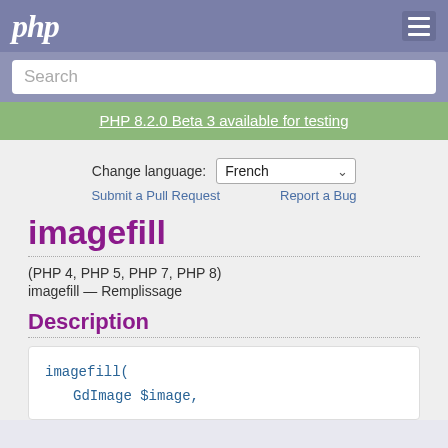php
Search
PHP 8.2.0 Beta 3 available for testing
Change language: French
Submit a Pull Request   Report a Bug
imagefill
(PHP 4, PHP 5, PHP 7, PHP 8)
imagefill — Remplissage
Description
imagefill(
    GdImage $image,